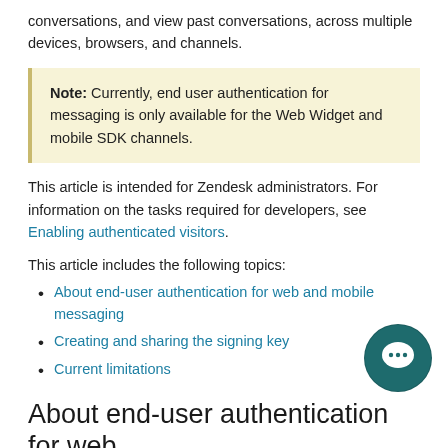conversations, and view past conversations, across multiple devices, browsers, and channels.
Note: Currently, end user authentication for messaging is only available for the Web Widget and mobile SDK channels.
This article is intended for Zendesk administrators. For information on the tasks required for developers, see Enabling authenticated visitors.
This article includes the following topics:
About end-user authentication for web and mobile messaging
Creating and sharing the signing key
Current limitations
About end-user authentication for web